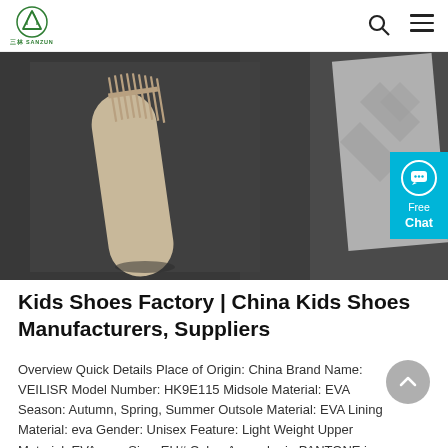三林 SANZUN — navigation bar with logo, search icon, and menu icon
[Figure (photo): Close-up photo of a wooden hair comb and what appears to be a grey geometric-patterned card or holder on a dark grey/black textured background. A cyan 'Free Chat' button overlay is visible on the right side.]
Kids Shoes Factory | China Kids Shoes Manufacturers, Suppliers
Overview Quick Details Place of Origin: China Brand Name: VEILISR Model Number: HK9E115 Midsole Material: EVA Season: Autumn, Spring, Summer Outsole Material: EVA Lining Material: eva Gender: Unisex Feature: Light Weight Upper Material: EVA, eva Size: EU# Color: Any color in PANTONE is available MOQ: 100ctns,one carton contains 36 pairs ...